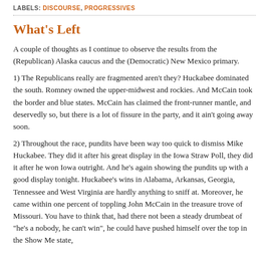LABELS: DISCOURSE, PROGRESSIVES
What's Left
A couple of thoughts as I continue to observe the results from the (Republican) Alaska caucus and the (Democratic) New Mexico primary.
1) The Republicans really are fragmented aren't they? Huckabee dominated the south. Romney owned the upper-midwest and rockies. And McCain took the border and blue states. McCain has claimed the front-runner mantle, and deservedly so, but there is a lot of fissure in the party, and it ain't going away soon.
2) Throughout the race, pundits have been way too quick to dismiss Mike Huckabee. They did it after his great display in the Iowa Straw Poll, they did it after he won Iowa outright. And he's again showing the pundits up with a good display tonight. Huckabee's wins in Alabama, Arkansas, Georgia, Tennessee and West Virginia are hardly anything to sniff at. Moreover, he came within one percent of toppling John McCain in the treasure trove of Missouri. You have to think that, had there not been a steady drumbeat of "he's a nobody, he can't win", he could have pushed himself over the top in the Show Me state,